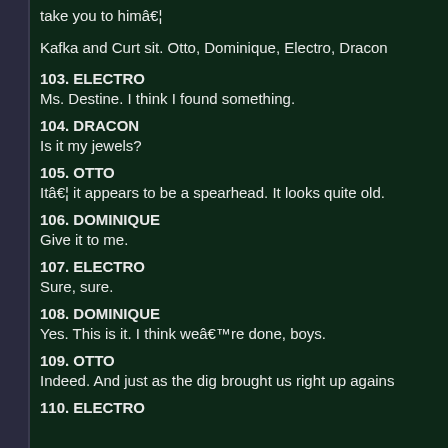take you to himâ¦
Kafka and Curt sit. Otto, Dominique, Electro, Dracon
103. ELECTRO
Ms. Destine. I think I found something.
104. DRACON
Is it my jewels?
105. OTTO
Itâ¦ it appears to be a spearhead. It looks quite old.
106. DOMINIQUE
Give it to me.
107. ELECTRO
Sure, sure.
108. DOMINIQUE
Yes. This is it. I think weâre done, boys.
109. OTTO
Indeed. And just as the dig brought us right up agains
110. ELECTRO